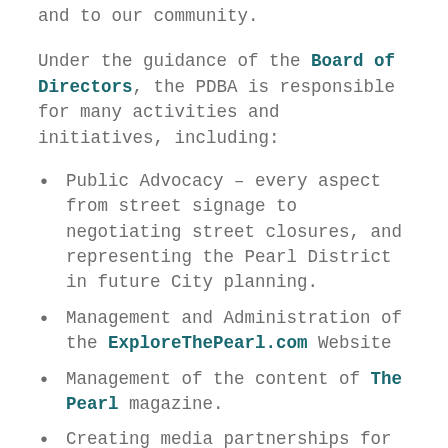and to our community.
Under the guidance of the Board of Directors, the PDBA is responsible for many activities and initiatives, including:
Public Advocacy – every aspect from street signage to negotiating street closures, and representing the Pearl District in future City planning.
Management and Administration of the ExploreThePearl.com Website
Management of the content of The Pearl magazine.
Creating media partnerships for programs like the Pearl District